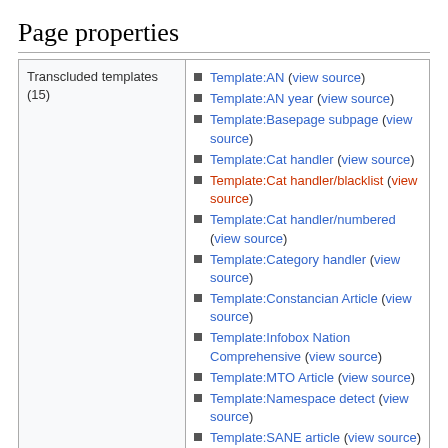Page properties
| Transcluded templates (15) | Template list |
| --- | --- |
| Transcluded templates (15) | Template:AN (view source)
Template:AN year (view source)
Template:Basepage subpage (view source)
Template:Cat handler (view source)
Template:Cat handler/blacklist (view source)
Template:Cat handler/numbered (view source)
Template:Category handler (view source)
Template:Constancian Article (view source)
Template:Infobox Nation Comprehensive (view source)
Template:MTO Article (view source)
Template:Namespace detect (view source)
Template:SANE article (view source)
Template:Tooltip (view source)
Template:Top icon (view source)
Template:Unbulleted list (view source) |